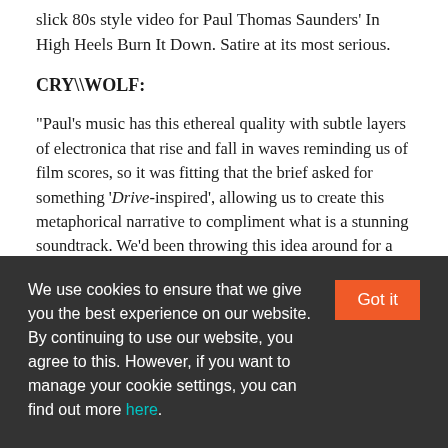slick 80s style video for Paul Thomas Saunders' In High Heels Burn It Down. Satire at its most serious.
CRY\WOLF:
"Paul's music has this ethereal quality with subtle layers of electronica that rise and fall in waves reminding us of film scores, so it was fitting that the brief asked for something 'Drive-inspired', allowing us to create this metaphorical narrative to compliment what is a stunning soundtrack. We'd been throwing this idea around for a while inspired by documentary footage of deer rutting over territory and
We use cookies to ensure that we give you the best experience on our website.
By continuing to use our website, you agree to this. However, if you want to manage your cookie settings, you can find out more here.